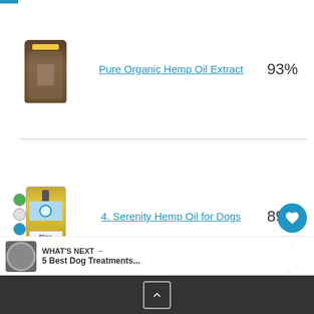[Figure (photo): Product bottle for Pure Organic Hemp Oil Extract (partially visible at top)]
Pure Organic Hemp Oil Extract
93%
4. Serenity Hemp Oil for Dogs
89%
[Figure (photo): Serenity Hemp Oil for Dogs product bottle with badges]
5. LOGIC REMEDY Organic Hemp Extract & Essential Oil Blend & Omega-3 6 9 Fatty Acids for Dogs
85%
[Figure (photo): LOGIC REMEDY product bottle with hemp leaf and floral background]
WHAT'S NEXT → 5 Best Dog Treatments...